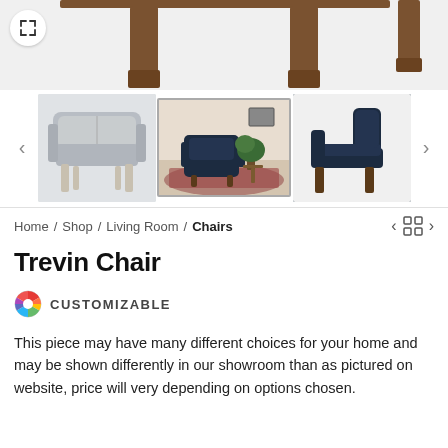[Figure (photo): Product carousel showing Trevin Chair in three views: top shows wooden table legs against white background; left thumbnail shows gray leather chair front view; center thumbnail shows navy chair in room setting; right thumbnail shows navy leather chair from side view.]
Home / Shop / Living Room / Chairs
Trevin Chair
CUSTOMIZABLE
This piece may have many different choices for your home and may be shown differently in our showroom than as pictured on website, price will very depending on options chosen.